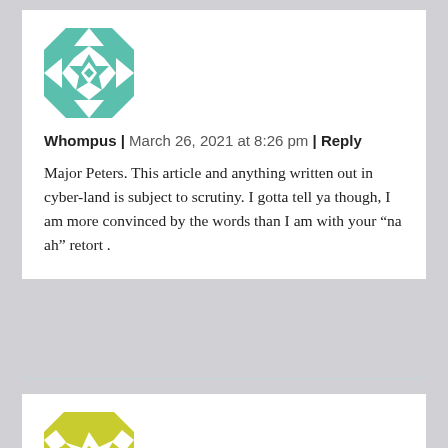[Figure (illustration): Teal/green decorative quilted avatar icon with star and geometric pattern]
Whompus | March 26, 2021 at 8:26 pm | Reply
Major Peters. This article and anything written out in cyber-land is subject to scrutiny. I gotta tell ya though, I am more convinced by the words than I am with your “na ah” retort .
[Figure (illustration): Yellow-green decorative quilted avatar icon with geometric pattern]
Georges E. Melki | March 26, 2021 at 9:17 pm |